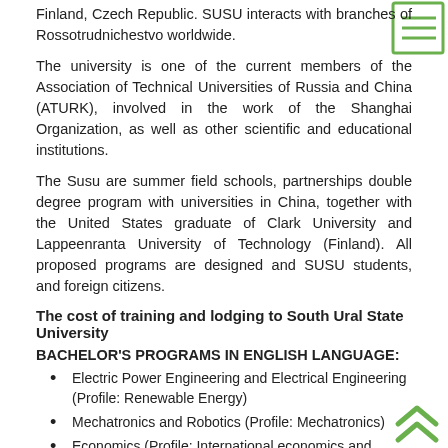Finland, Czech Republic. SUSU interacts with branches of Rossotrudnichestvo worldwide.
[Figure (illustration): Green bordered square box icon with three horizontal lines (menu icon)]
The university is one of the current members of the Association of Technical Universities of Russia and China (ATURK), involved in the work of the Shanghai Organization, as well as other scientific and educational institutions.
The Susu are summer field schools, partnerships double degree program with universities in China, together with the United States graduate of Clark University and Lappeenranta University of Technology (Finland). All proposed programs are designed and SUSU students, and foreign citizens.
The cost of training and lodging to South Ural State University
BACHELOR'S PROGRAMS IN ENGLISH LANGUAGE:
Electric Power Engineering and Electrical Engineering (Profile: Renewable Energy)
Mechatronics and Robotics (Profile: Mechatronics)
Economics (Profile: International economics and trade)
Management (Profile: Business and Management)
[Figure (illustration): Green double chevron/arrow pointing upward icon]